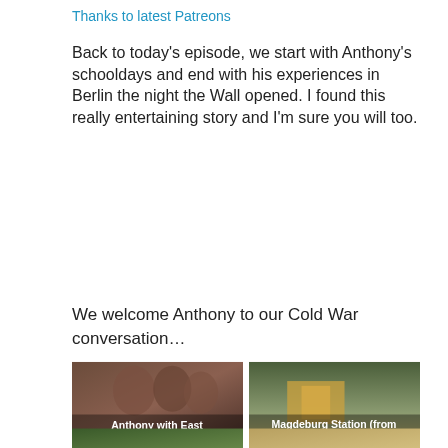Thanks to latest Patreons
Back to today's episode, we start with Anthony's schooldays and end with his experiences in Berlin the night the Wall opened. I found this really entertaining story and I'm sure you will too.
We welcome Anthony to our Cold War conversation...
[Figure (photo): Anthony with East German sailors - vintage photo of men in naval uniforms]
Anthony with East German sailors.
[Figure (photo): Magdeburg Station viewed from the Military Train - outdoor railway station scene]
Magdeburg Station (from the Military Train)
[Figure (photo): Bottom left partial photo]
[Figure (photo): Bottom right partial photo]